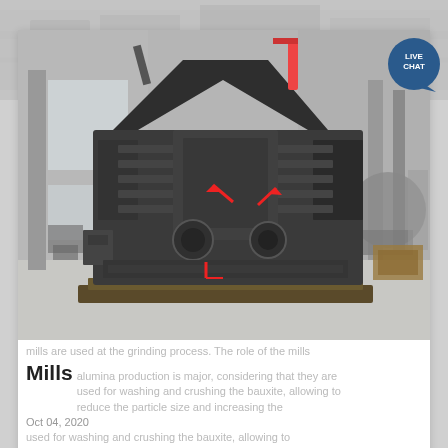[Figure (photo): Large industrial impact crusher / mill machine, dark grey/black metal, sitting on wooden pallets in a factory warehouse. Red arrows point to key features. Background shows industrial building interior.]
mills are used at the grinding process. The role of the mills
Mills
alumina production is major, considering that they are used for washing and crushing the bauxite, allowing to reduce the particle size and increasing the
Oct 04, 2020
used for washing and crushing the bauxite, allowing to reduce the particle size and increasing the
Mills GP Services Mining minerals equipment. Rod or Ball mills are used at the grinding process. The role of the mills in alumina production is major, considering that they are